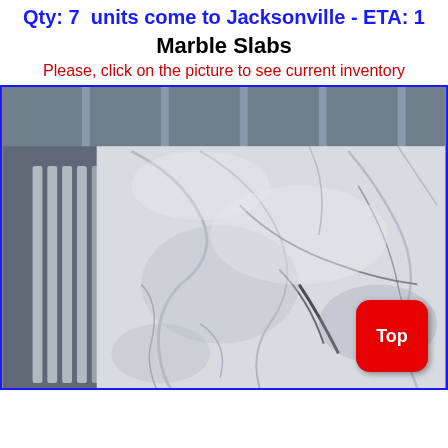Qty: 7  units come to Jacksonville - ETA: 1
Marble Slabs
Please, click on the picture to see current inventory
[Figure (photo): Large marble slab with grey and white swirling veining, photographed in a warehouse/showroom setting. Additional slabs visible on the left side. A red 'Top' button is overlaid on the bottom right corner.]